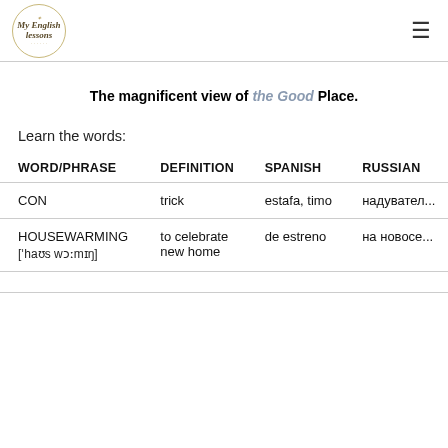My English lessons
The magnificent view of the Good Place.
Learn the words:
| WORD/PHRASE | DEFINITION | SPANISH | RUSSIAN |
| --- | --- | --- | --- |
| CON | trick | estafa, timo | надувател... |
| HOUSEWARMING
[ˈhaʊs wɔːmɪŋ] | to celebrate new home | de estreno | на новосе... |